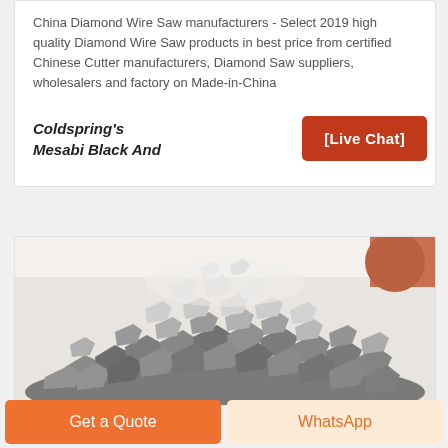China Diamond Wire Saw manufacturers - Select 2019 high quality Diamond Wire Saw products in best price from certified Chinese Cutter manufacturers, Diamond Saw suppliers, wholesalers and factory on Made-in-China
Coldspring's Mesabi Black And
[Figure (other): Button overlay showing [Live Chat] in orange-red on white background]
[Figure (photo): Close-up photo of a pile of grey crushed stone/gravel aggregate pieces]
Get a Quote
WhatsApp